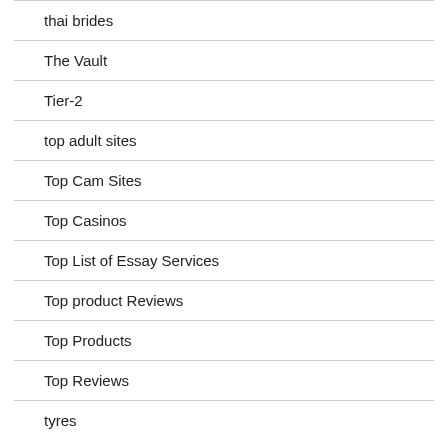thai brides
The Vault
Tier-2
top adult sites
Top Cam Sites
Top Casinos
Top List of Essay Services
Top product Reviews
Top Products
Top Reviews
tyres